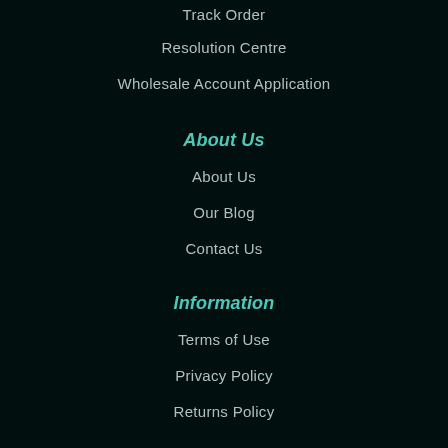Track Order
Resolution Centre
Wholesale Account Application
About Us
About Us
Our Blog
Contact Us
Information
Terms of Use
Privacy Policy
Returns Policy